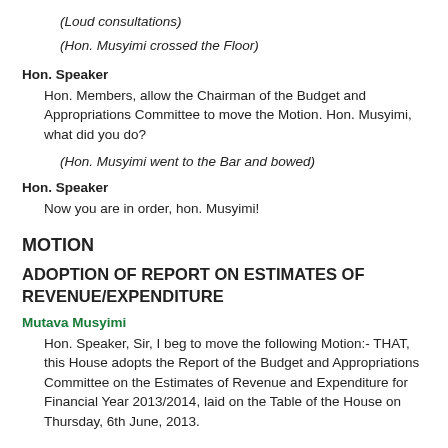(Loud consultations)
(Hon. Musyimi crossed the Floor)
Hon. Speaker
Hon. Members, allow the Chairman of the Budget and Appropriations Committee to move the Motion. Hon. Musyimi, what did you do?
(Hon. Musyimi went to the Bar and bowed)
Hon. Speaker
Now you are in order, hon. Musyimi!
MOTION
ADOPTION OF REPORT ON ESTIMATES OF REVENUE/EXPENDITURE
Mutava Musyimi
Hon. Speaker, Sir, I beg to move the following Motion:- THAT, this House adopts the Report of the Budget and Appropriations Committee on the Estimates of Revenue and Expenditure for Financial Year 2013/2014, laid on the Table of the House on Thursday, 6th June, 2013.